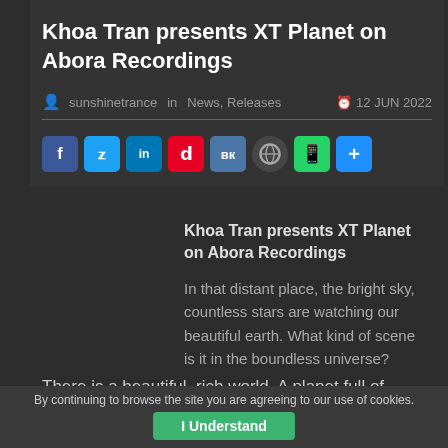Khoa Tran presents XT Planet on Abora Recordings
sunshinetrance in News, Releases   12 JUN 2022
[Figure (other): Social sharing buttons: Facebook, Twitter, LinkedIn, Pinterest, VK, WordPress, WhatsApp, More]
Khoa Tran presents XT Planet on Abora Recordings
In that distant place, the bright sky, countless stars are watching our beautiful earth. What kind of scene is it in the boundless universe?
There is a beautiful, rich world. A planet full of vitality, where there is no war, no smoke of gunpowder, and no
By continuing to browse the site you are agreeing to our use of cookies.
I Understand